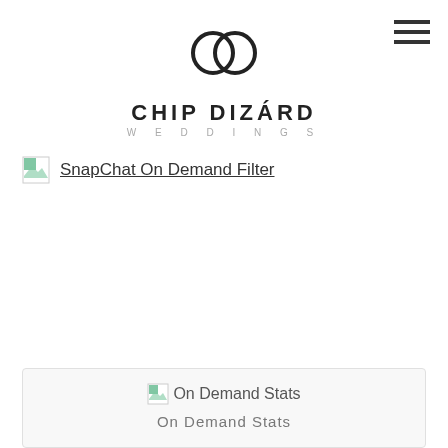[Figure (logo): Chip Dizard Weddings logo with two interlocking rings above the text CHIP DIZÁRD WEDDINGS]
[Figure (other): Hamburger menu icon (three horizontal lines) in top right corner]
SnapChat On Demand Filter
[Figure (other): On Demand Stats card with broken image icon and subtitle text]
On Demand Stats